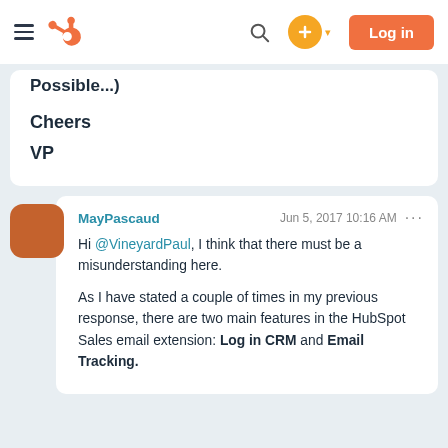HubSpot community navigation bar with hamburger menu, HubSpot logo, search icon, plus button, and Log in button
Possible...)
Cheers
VP
MayPascaud  Jun 5, 2017 10:16 AM  ... Hi @VineyardPaul, I think that there must be a misunderstanding here. As I have stated a couple of times in my previous response, there are two main features in the HubSpot Sales email extension: Log in CRM and Email Tracking.